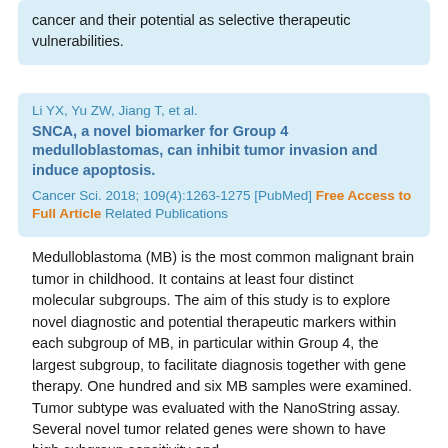cancer and their potential as selective therapeutic vulnerabilities.
Li YX, Yu ZW, Jiang T, et al. SNCA, a novel biomarker for Group 4 medulloblastomas, can inhibit tumor invasion and induce apoptosis. Cancer Sci. 2018; 109(4):1263-1275 [PubMed] Free Access to Full Article Related Publications
Medulloblastoma (MB) is the most common malignant brain tumor in childhood. It contains at least four distinct molecular subgroups. The aim of this study is to explore novel diagnostic and potential therapeutic markers within each subgroup of MB, in particular within Group 4, the largest subgroup, to facilitate diagnosis together with gene therapy. One hundred and six MB samples were examined. Tumor subtype was evaluated with the NanoString assay. Several novel tumor related genes were shown to have high subgroup sensitivity and